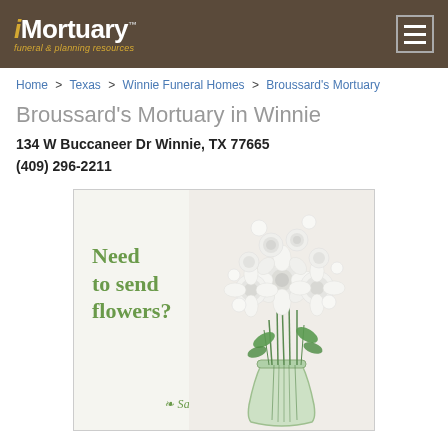iMortuary™ funeral & planning resources
Home > Texas > Winnie Funeral Homes > Broussard's Mortuary
Broussard's Mortuary in Winnie
134 W Buccaneer Dr Winnie, TX 77665
(409) 296-2211
[Figure (illustration): Flower delivery advertisement showing a bouquet of white roses in a glass vase with text 'Need to send flowers? Same day delivery']